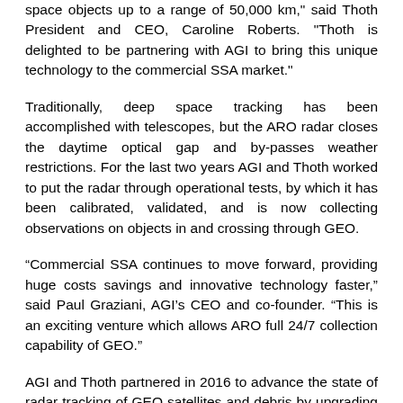space objects up to a range of 50,000 km," said Thoth President and CEO, Caroline Roberts. "Thoth is delighted to be partnering with AGI to bring this unique technology to the commercial SSA market."
Traditionally, deep space tracking has been accomplished with telescopes, but the ARO radar closes the daytime optical gap and by-passes weather restrictions. For the last two years AGI and Thoth worked to put the radar through operational tests, by which it has been calibrated, validated, and is now collecting observations on objects in and crossing through GEO.
“Commercial SSA continues to move forward, providing huge costs savings and innovative technology faster,” said Paul Graziani, AGI’s CEO and co-founder. “This is an exciting venture which allows ARO full 24/7 collection capability of GEO.”
AGI and Thoth partnered in 2016 to advance the state of radar tracking of GEO satellites and debris by upgrading the ARO, where Thoth had been providing space tracking and communication